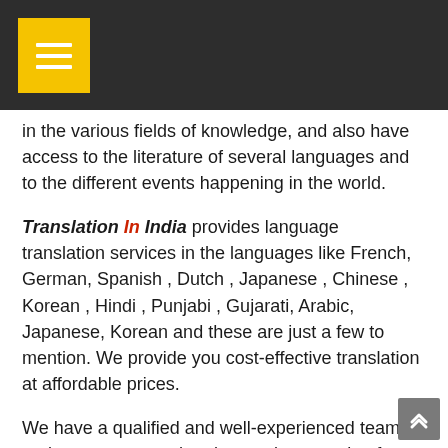in the various fields of knowledge, and also have access to the literature of several languages and to the different events happening in the world.
Translation In India provides language translation services in the languages like French, German, Spanish , Dutch , Japanese , Chinese , Korean , Hindi , Punjabi , Gujarati, Arabic, Japanese, Korean and these are just a few to mention. We provide you cost-effective translation at affordable prices.
We have a qualified and well-experienced team of project managers who always give attention for tracking the translator to monitor timelines for deliveries for providing the best quality output at all times.